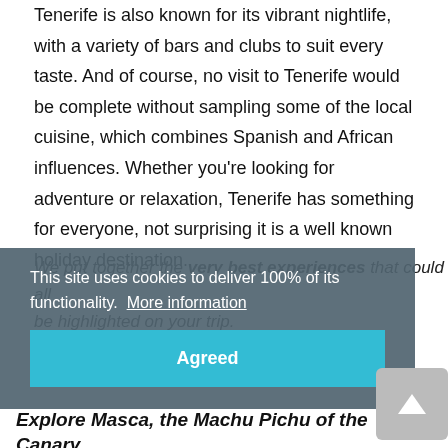Tenerife is also known for its vibrant nightlife, with a variety of bars and clubs to suit every taste. And of course, no visit to Tenerife would be complete without sampling some of the local cuisine, which combines Spanish and African influences. Whether you're looking for adventure or relaxation, Tenerife has something for everyone, not surprising it is a well known holiday destination.
We put together the very best experiences that could all be highlighted on your trip.
This site uses cookies to deliver 100% of its functionality.  More information
Agreed
Top 5 Places to Visit in Tenerife
Explore Masca, the Machu Pichu of the Canary